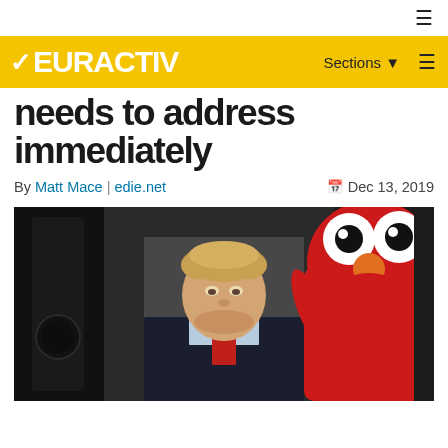EURACTIV | Sections | menu
needs to address immediately
By Matt Mace | edie.net   Dec 13, 2019
[Figure (photo): Boris Johnson standing next to Elmo (red Sesame Street muppet character) in front of a dark background]